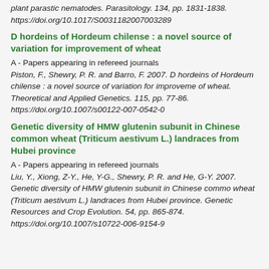plant parastic nematodes. Parasitology. 134, pp. 1831-1838. https://doi.org/10.1017/S0031182007003289
D hordeins of Hordeum chilense : a novel source of variation for improvement of wheat
A - Papers appearing in refereed journals
Piston, F., Shewry, P. R. and Barro, F. 2007. D hordeins of Hordeum chilense : a novel source of variation for improvement of wheat. Theoretical and Applied Genetics. 115, pp. 77-86. https://doi.org/10.1007/s00122-007-0542-0
Genetic diversity of HMW glutenin subunit in Chinese common wheat (Triticum aestivum L.) landraces from Hubei province
A - Papers appearing in refereed journals
Liu, Y., Xiong, Z-Y., He, Y-G., Shewry, P. R. and He, G-Y. 2007. Genetic diversity of HMW glutenin subunit in Chinese common wheat (Triticum aestivum L.) landraces from Hubei province. Genetic Resources and Crop Evolution. 54, pp. 865-874. https://doi.org/10.1007/s10722-006-9154-9